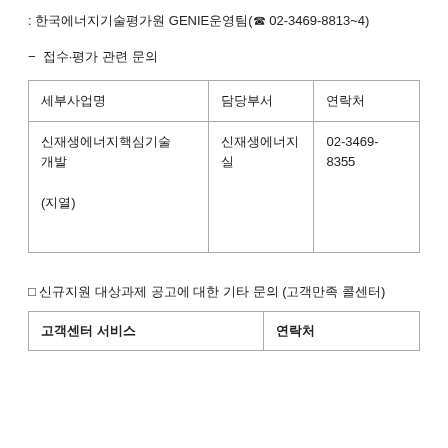: 한국에너지기술평가원 GENIE운영팀(☎ 02-3469-8813~4)
- 접수·평가 관련 문의
| 세부사업명 | 담당부서 | 연락처 |
| --- | --- | --- |
| 신재생에너지핵심기술개발

(지열) | 신재생에너지실 | 02-3469-8355 |
□ 신규지원 대상과제 공고에 대한 기타 문의 (고객만족 콜센터)
| 고객센터 서비스 | 연락처 |
| --- | --- |